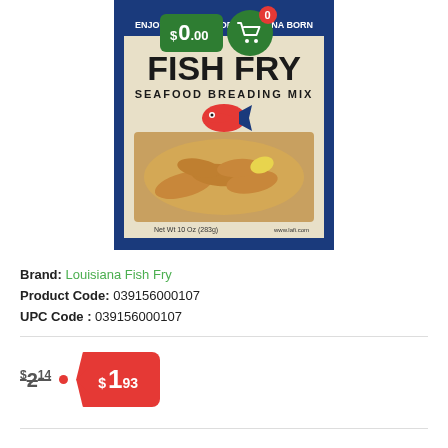[Figure (photo): Product photo of Louisiana Fish Fry Seafood Breading Mix bag with cart icon and $0.00 price overlay in green]
Brand: Louisiana Fish Fry
Product Code: 039156000107
UPC Code : 039156000107
$2.14 • $1.93